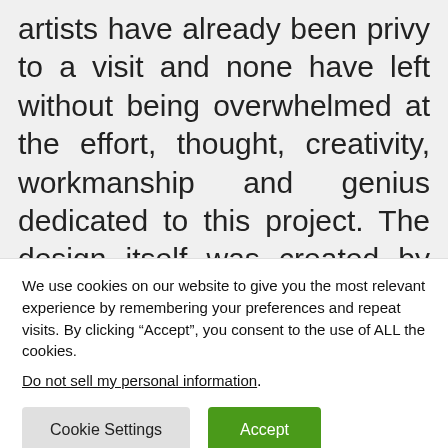artists have already been privy to a visit and none have left without being overwhelmed at the effort, thought, creativity, workmanship and genius dedicated to this project. The design itself was created by Nunzio as was a great deal of the construction and hard labour. Many good people providing their skills,
We use cookies on our website to give you the most relevant experience by remembering your preferences and repeat visits. By clicking “Accept”, you consent to the use of ALL the cookies.
Do not sell my personal information.